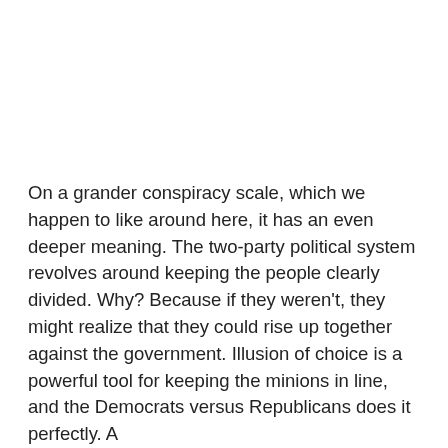On a grander conspiracy scale, which we happen to like around here, it has an even deeper meaning.  The two-party political system revolves around keeping the people clearly divided.  Why?  Because if they weren't, they might realize that they could rise up together against the government.  Illusion of choice is a powerful tool for keeping the minions in line, and the Democrats versus Republicans does it perfectly. A...